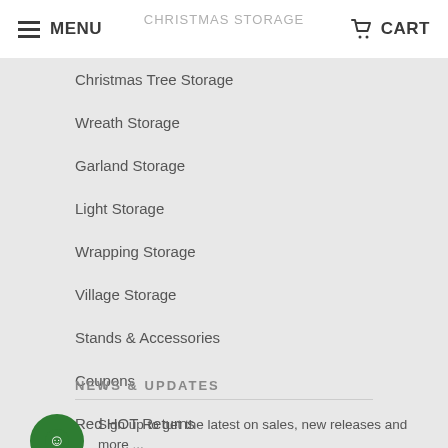MENU | CHRISTMAS STORAGE | CART
Christmas Tree Storage
Wreath Storage
Garland Storage
Light Storage
Wrapping Storage
Village Storage
Stands & Accessories
Coupons
Red HOT Returns
NEWS & UPDATES
Sign up to get the latest on sales, new releases and more ...